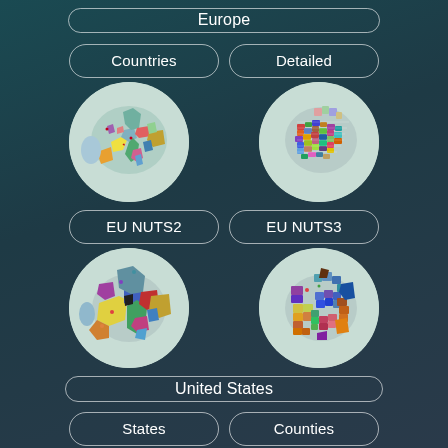Europe
Countries
Detailed
[Figure (map): Circular map of Europe showing countries with colored regions]
[Figure (map): Circular detailed map of Europe with many small colored regions]
EU NUTS2
EU NUTS3
[Figure (map): Circular map of Europe showing EU NUTS2 regions]
[Figure (map): Circular map of Europe showing EU NUTS3 regions]
United States
States
Counties